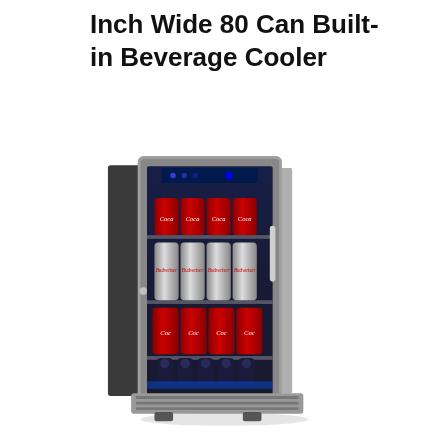Inch Wide 80 Can Built-in Beverage Cooler
[Figure (photo): A stainless steel framed built-in beverage cooler with glass door, showing shelves stocked with Coca-Cola cans on top and bottom shelves, Budweiser cans on the middle shelf, and wine bottles on the bottom rack. The unit has a digital control panel at the top and blue interior LED lighting.]